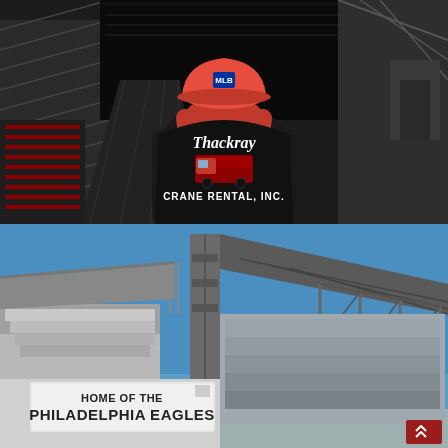[Figure (photo): A construction worker seen from behind wearing a red hard hat with MLB logo and a black jacket with 'Thackray CRANE RENTAL, INC.' embroidered on the back, along with a red truck graphic. The worker is standing at a construction site at a baseball stadium with steel structure visible.]
[Figure (photo): Exterior view of Lincoln Financial Field stadium against a clear blue sky, showing the steel structural framework and a sign reading 'HOME OF THE PHILADELPHIA EAGLES'. A small red icon with upward chevrons is visible in the lower right corner.]